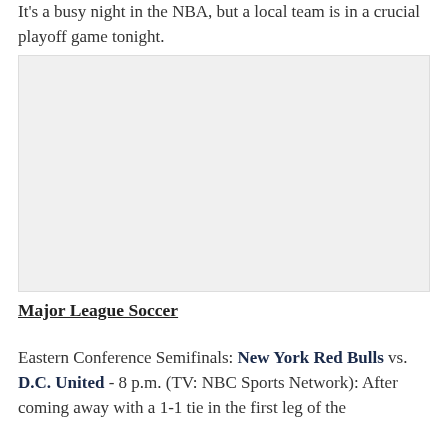It's a busy night in the NBA, but a local team is in a crucial playoff game tonight.
[Figure (photo): Placeholder image area, light gray background]
Major League Soccer
Eastern Conference Semifinals: New York Red Bulls vs. D.C. United - 8 p.m. (TV: NBC Sports Network): After coming away with a 1-1 tie in the first leg of the